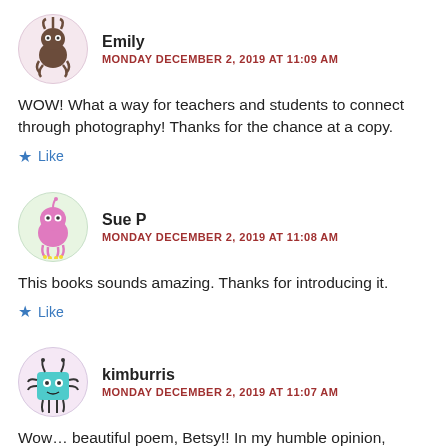[Figure (illustration): Avatar for Emily — cartoon monster/creature with pink circular background]
Emily
MONDAY DECEMBER 2, 2019 AT 11:09 AM
WOW! What a way for teachers and students to connect through photography! Thanks for the chance at a copy.
★ Like
[Figure (illustration): Avatar for Sue P — cartoon pink monster with green circular background]
Sue P
MONDAY DECEMBER 2, 2019 AT 11:08 AM
This books sounds amazing. Thanks for introducing it.
★ Like
[Figure (illustration): Avatar for kimburris — cartoon teal/blue square creature with pink circular background]
kimburris
MONDAY DECEMBER 2, 2019 AT 11:07 AM
Wow… beautiful poem, Betsy!! In my humble opinion, anything written by Ralph Fletcher is "must read!"